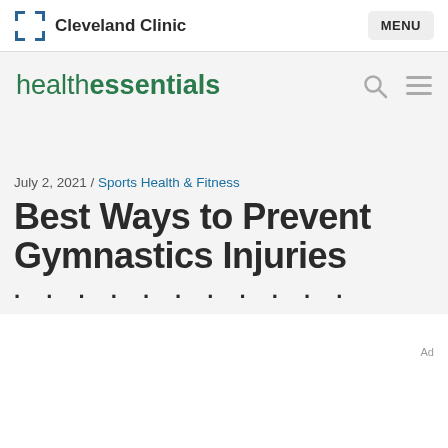Cleveland Clinic   MENU
[Figure (logo): healthessentials logo with search and menu icons]
July 2, 2021 / Sports Health & Fitness
Best Ways to Prevent Gymnastics Injuries
Ad